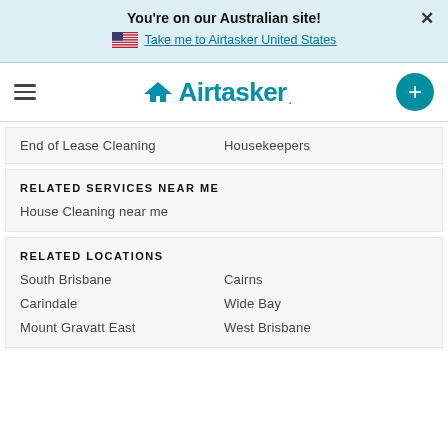You're on our Australian site!
Take me to Airtasker United States
[Figure (logo): Airtasker logo with stylized arrow and wordmark]
End of Lease Cleaning
Housekeepers
RELATED SERVICES NEAR ME
House Cleaning near me
RELATED LOCATIONS
South Brisbane
Cairns
Carindale
Wide Bay
Mount Gravatt East
West Brisbane